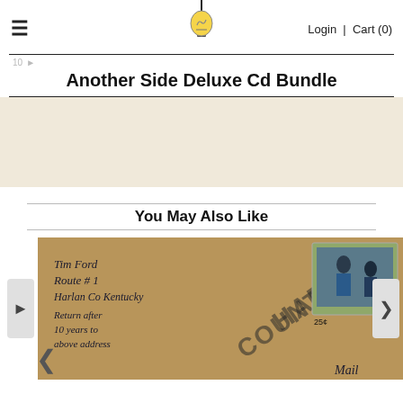Login | Cart (0)
Another Side Deluxe Cd Bundle
[Figure (other): Beige/cream empty product image placeholder area]
You May Also Like
[Figure (photo): Album cover showing a postcard addressed to Tim Ford, Route #1, Harlan Co Kentucky, Return after 10 years to above address, with postage stamps and HARLAN COUNTY postmark text overlay]